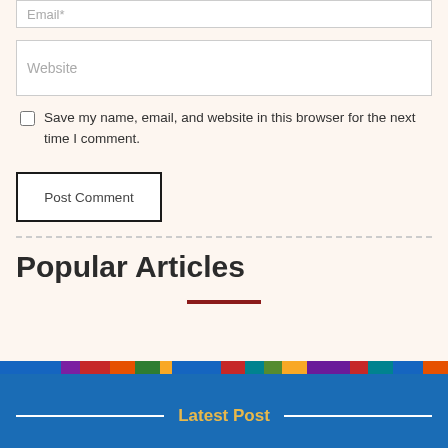Email*
Website
Save my name, email, and website in this browser for the next time I comment.
Post Comment
Popular Articles
Latest Post